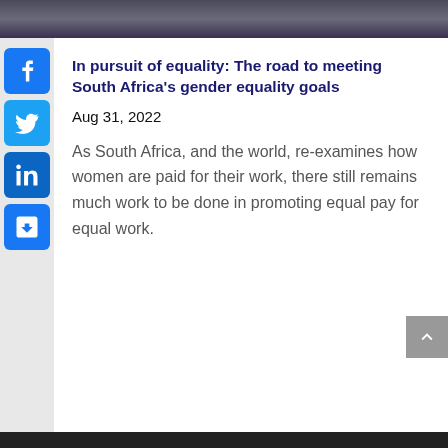[Figure (photo): Top strip showing people in a meeting or group setting, partial view with dark tones]
In pursuit of equality: The road to meeting South Africa's gender equality goals
Aug 31, 2022
As South Africa, and the world, re-examines how women are paid for their work, there still remains much work to be done in promoting equal pay for equal work.